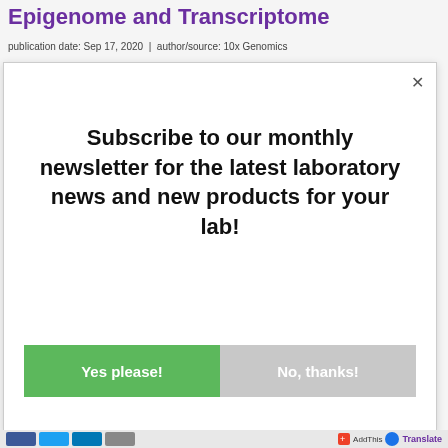Epigenome and Transcriptome
publication date: Sep 17, 2020  |  author/source: 10x Genomics
Subscribe to our monthly newsletter for the latest laboratory news and new products for your lab!
Yes please!
No, thanks!